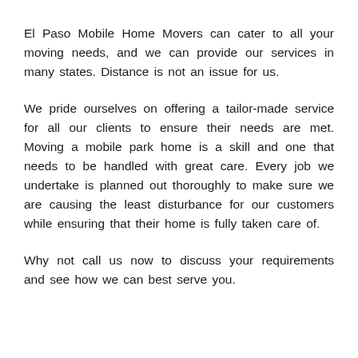El Paso Mobile Home Movers can cater to all your moving needs, and we can provide our services in many states. Distance is not an issue for us.
We pride ourselves on offering a tailor-made service for all our clients to ensure their needs are met. Moving a mobile park home is a skill and one that needs to be handled with great care. Every job we undertake is planned out thoroughly to make sure we are causing the least disturbance for our customers while ensuring that their home is fully taken care of.
Why not call us now to discuss your requirements and see how we can best serve you.